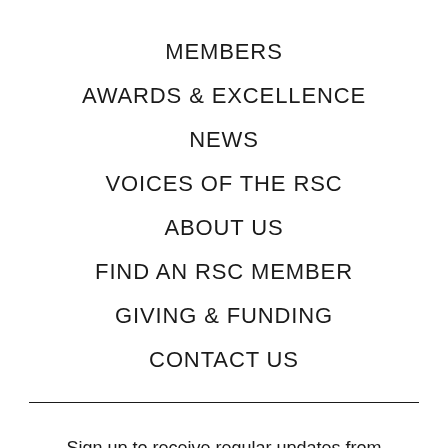MEMBERS
AWARDS & EXCELLENCE
NEWS
VOICES OF THE RSC
ABOUT US
FIND AN RSC MEMBER
GIVING & FUNDING
CONTACT US
Sign up to receive regular updates from